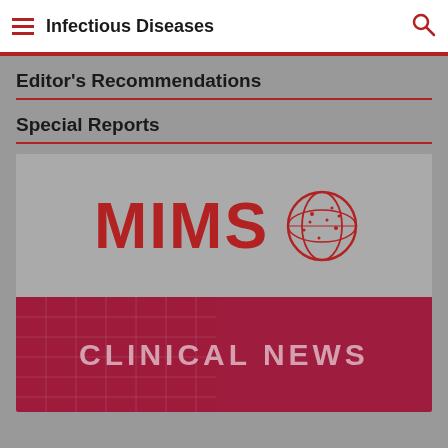Infectious Diseases
Editor's Recommendations
Special Reports
[Figure (logo): MIMS Clinical News logo — red MIMS text with globe icon above a dark red/crimson bar reading CLINICAL NEWS]